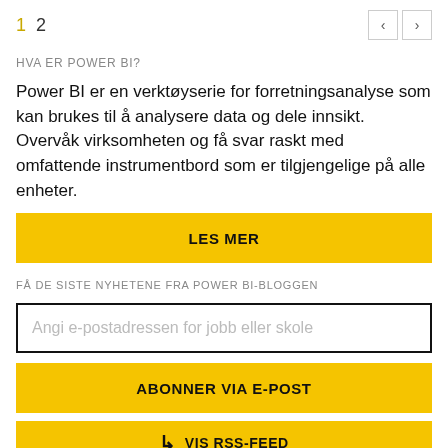1  2
HVA ER POWER BI?
Power BI er en verktøyserie for forretningsanalyse som kan brukes til å analysere data og dele innsikt. Overvåk virksomheten og få svar raskt med omfattende instrumentbord som er tilgjengelige på alle enheter.
LES MER
FÅ DE SISTE NYHETENE FRA POWER BI-BLOGGEN
Angi e-postadressen for jobb eller skole
ABONNER VIA E-POST
VIS RSS-FEED